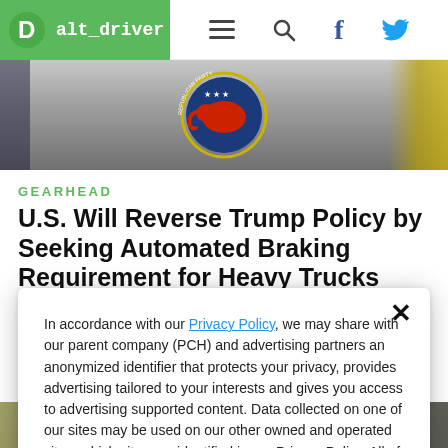alt_driver
[Figure (photo): Republican Party elephant logo/seal with red and blue decorations, close-up photo used as hero image for the article]
GEARHEAD
U.S. Will Reverse Trump Policy by Seeking Automated Braking Requirement for Heavy Trucks
In accordance with our Privacy Policy, we may share with our parent company (PCH) and advertising partners an anonymized identifier that protects your privacy, provides advertising tailored to your interests and gives you access to advertising supported content. Data collected on one of our sites may be used on our other owned and operated sites, which sites are identified in our Privacy Policy. All of our sites are governed by the same Privacy Policy, and by proceeding to access this site, you are consenting to that Privacy Policy.
[Figure (photo): Partial bottom strip showing a news-related photo, partially obscured by the privacy modal]